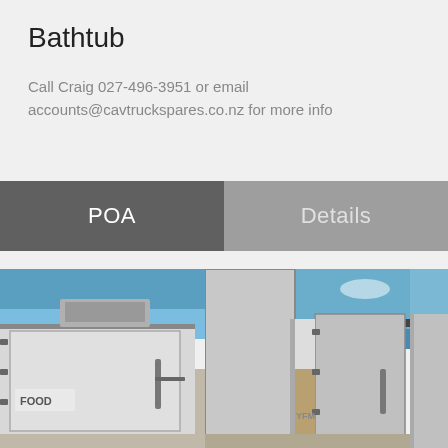Bathtub
Call Craig 027-496-3951 or email accounts@cavtruckspares.co.nz for more info
POA
Details
[Figure (photo): Two photos of a refrigerated truck body with open rear doors showing the interior, photographed outdoors under blue sky.]